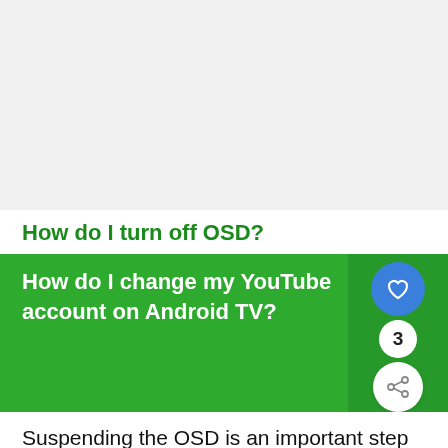[Figure (other): White/light gray advertisement or image placeholder area at top of page]
How do I turn off OSD?
[Figure (infographic): Green banner with white text reading 'How do I change my YouTube account on Android TV?' with a dark green right panel containing a blue circular heart button, the number 3, and a white circular share button]
Suspending the OSD is an important step in debugging any SCCM issues. The OsdSer running in the background of your PC, wh an overhead with every launch of Windows by